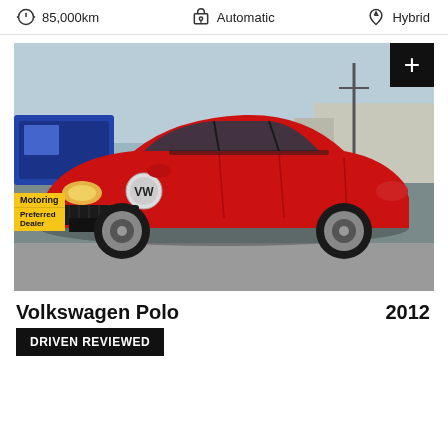85,000km  Automatic  Hybrid
[Figure (photo): Red Volkswagen Polo 2012 hatchback parked outdoors, front three-quarter view. A Motoring Preferred Dealer badge is visible in the bottom left. A black plus (+) button in the top right corner.]
Volkswagen Polo  2012
DRIVEN REVIEWED